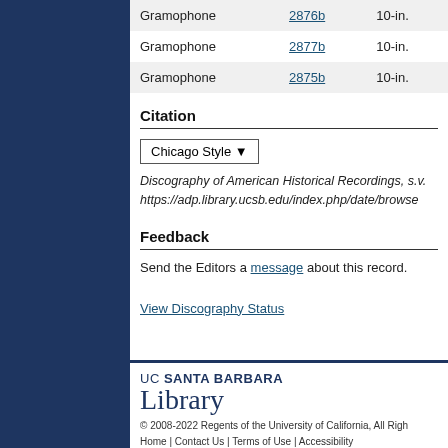| Type | ID | Size |
| --- | --- | --- |
| Gramophone | 2876b | 10-in. |
| Gramophone | 2877b | 10-in. |
| Gramophone | 2875b | 10-in. |
Citation
Chicago Style ▾
Discography of American Historical Recordings, s.v. https://adp.library.ucsb.edu/index.php/date/browse
Feedback
Send the Editors a message about this record.
View Discography Status
UC SANTA BARBARA Library © 2008-2022 Regents of the University of California, All Rights Reserved. Home | Contact Us | Terms of Use | Accessibility